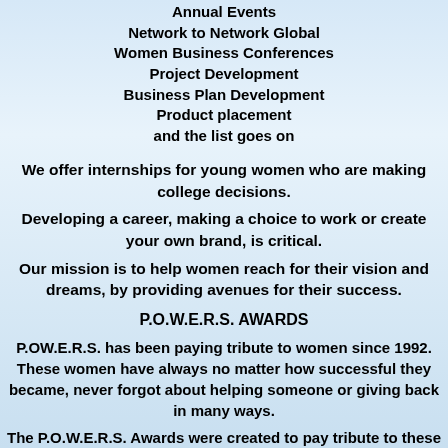Annual Events
Network to Network Global
Women Business Conferences
Project Development
Business Plan Development
Product placement
and the list goes on
We offer internships for young women who are making college decisions.
Developing a career, making a choice to work or create your own brand, is critical.
Our mission is to help women reach for their vision and dreams, by providing avenues for their success.
P.O.W.E.R.S. AWARDS
P.OW.E.R.S. has been paying tribute to women since 1992. These women have always no matter how successful they became, never forgot about helping someone or giving back in many ways.
The P.O.W.E.R.S. Awards were created to pay tribute to these